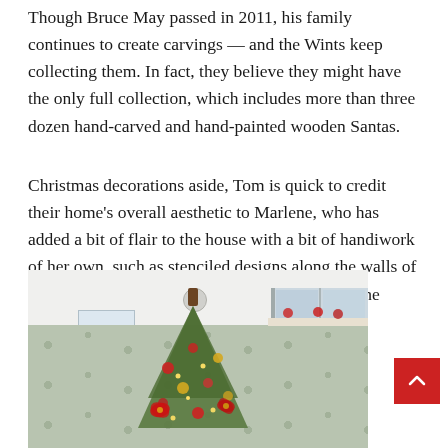Though Bruce May passed in 2011, his family continues to create carvings — and the Wints keep collecting them. In fact, they believe they might have the only full collection, which includes more than three dozen hand-carved and hand-painted wooden Santas.
Christmas decorations aside, Tom is quick to credit their home's overall aesthetic to Marlene, who has added a bit of flair to the house with a bit of handiwork of her own, such as stenciled designs along the walls of the Florida room, and hand-painted flooring in the basement.
[Figure (photo): Interior photo of a Florida room with stenciled green walls, a white ceiling with a circular vent and skylight, a window on the right showing outdoor winter scene, and an upside-down Christmas tree decorated with ornaments and red poinsettias.]